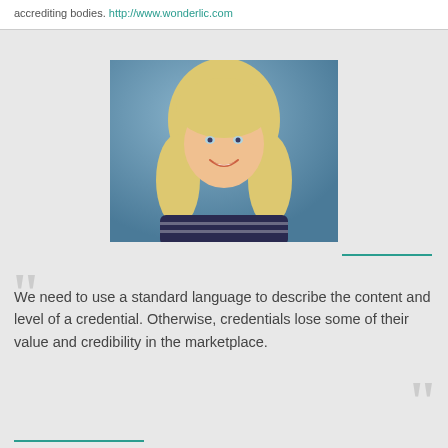accrediting bodies. http://www.wonderlic.com
[Figure (photo): Headshot photo of a smiling blonde woman against a blue background, wearing a striped top]
We need to use a standard language to describe the content and level of a credential. Otherwise, credentials lose some of their value and credibility in the marketplace.